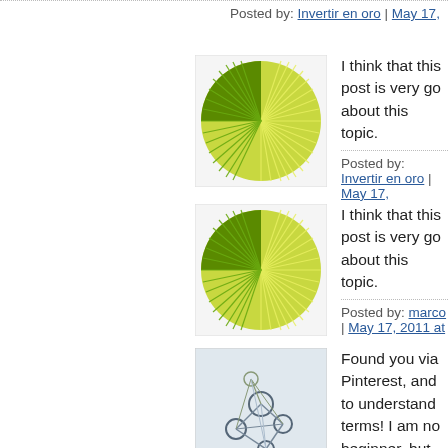Posted by: Invertir en oro | May 17,
[Figure (illustration): Green radial sunburst pattern avatar image]
I think that this post is very go... about this topic.
Posted by: Invertir en oro | May 17,
[Figure (illustration): Green radial sunburst pattern avatar image]
I think that this post is very go... about this topic.
Posted by: marco | May 17, 2011 at
[Figure (illustration): Grey abstract network/nodes avatar image]
Found you via Pinterest, and to understand terms! I am no... beginner, but I'm finding so m... including this bag! I hate usin... myself to pay for the ugly reu...
Posted by: Kate | March 24, 2012 a
[Figure (illustration): Green spiky radial burst avatar image]
I really enjoyed this great pos... interesting, I really appreci...